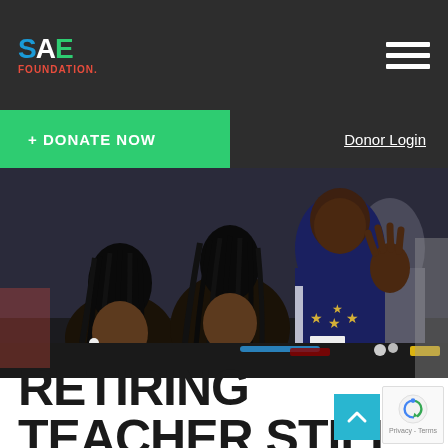SAE FOUNDATION
+ DONATE NOW
Donor Login
[Figure (photo): Children in navy blue shirts sitting at a table during an educational activity or workshop. Three students are visible in the foreground engaged with materials on the table.]
RETIRING TEACHER STILL